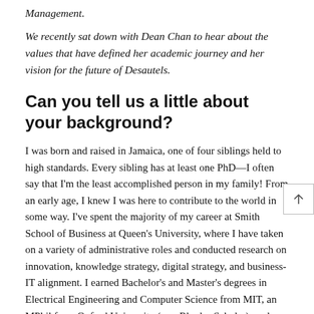Management.
We recently sat down with Dean Chan to hear about the values that have defined her academic journey and her vision for the future of Desautels.
Can you tell us a little about your background?
I was born and raised in Jamaica, one of four siblings held to high standards. Every sibling has at least one PhD—I often say that I'm the least accomplished person in my family! From an early age, I knew I was here to contribute to the world in some way. I've spent the majority of my career at Smith School of Business at Queen's University, where I have taken on a variety of administrative roles and conducted research on innovation, knowledge strategy, digital strategy, and business-IT alignment. I earned Bachelor's and Master's degrees in Electrical Engineering and Computer Science from MIT, an MPhil from Oxford University (as a Rhodes Scholar), and a PhD from Western University. Looking back, I can see how living in these different